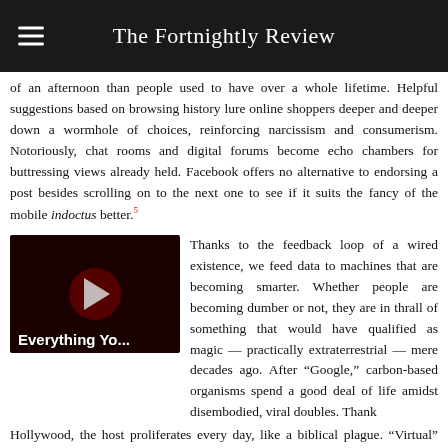The Fortnightly Review
of an afternoon than people used to have over a whole lifetime. Helpful suggestions based on browsing history lure online shoppers deeper and deeper down a wormhole of choices, reinforcing narcissism and consumerism. Notoriously, chat rooms and digital forums become echo chambers for buttressing views already held. Facebook offers no alternative to endorsing a post besides scrolling on to the next one to see if it suits the fancy of the mobile indoctus better.5
[Figure (screenshot): YouTube video thumbnail with title 'Everything Yo...' and play button]
Thanks to the feedback loop of a wired existence, we feed data to machines that are becoming smarter. Whether people are becoming dumber or not, they are in thrall of something that would have qualified as magic — practically extraterrestrial — mere decades ago. After "Google," carbon-based organisms spend a good deal of life amidst disembodied, viral doubles. Thanks to Hollywood, the host proliferates every day, like a biblical plague. "Virtual" reality is harder and harder to escape — as does its "really real" effects. Even people living in the developing world, without all the lures and blandishments of Silicon Valley, find that globalized market forces coordinated by these same imposturous instruments reach a grip that far exceeds the potential of yesteryear's colonialist administrations, which needed paperwork and postage stamps to function.